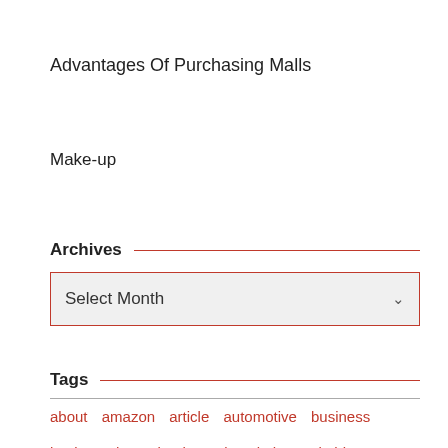Advantages Of Purchasing Malls
Make-up
Archives
Select Month
Tags
about  amazon  article  automotive  business  buying  channel  channels  clothes  clothing  coupons  education  electronics  exporters  fashion  finest  greatest  grocery  health  house  improvement  information  internet  largest